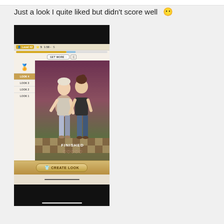Just a look I quite liked but didn't score well 😶
[Figure (screenshot): Mobile game screenshot of a fashion game showing Level 42, timer 1:58, two cartoon female characters posed on a checkered floor background with 'FINISHED' label and hearts. Look 4 is selected. A 'CREATE LOOK' button is at the bottom.]